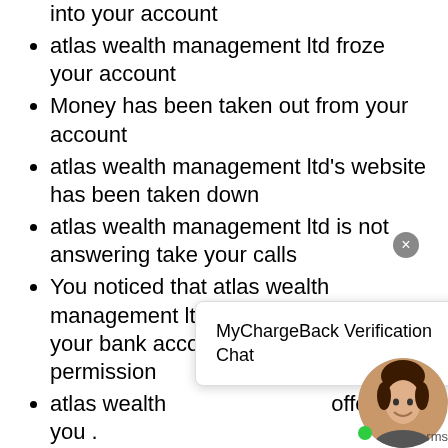into your account
atlas wealth management ltd froze your account
Money has been taken out from your account
atlas wealth management ltd's website has been taken down
atlas wealth management ltd is not answering take your calls
You noticed that atlas wealth management ltd took money out from your bank account without your permission
atlas wealth [management ltd stopped] offering you .
atlas wealth management ltd is requesting that you deposit more money into your account after you lost
[Figure (screenshot): MyChargeBack Verification Chat popup overlay with close button and avatar]